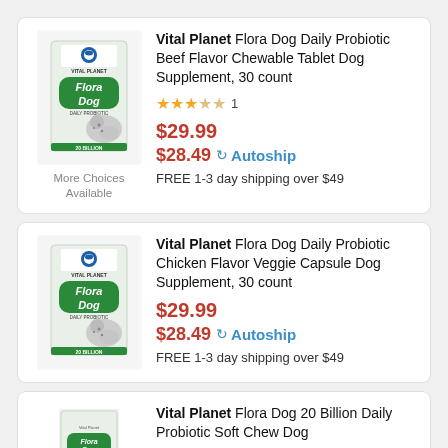[Figure (screenshot): Product listing card 1: Vital Planet Flora Dog Daily Probiotic Beef Flavor Chewable Tablet Dog Supplement, 30 count. Price $29.99, autoship $28.49. Rating 3.5 stars, 1 review. Free 1-3 day shipping over $49.]
[Figure (screenshot): Product listing card 2: Vital Planet Flora Dog Daily Probiotic Chicken Flavor Veggie Capsule Dog Supplement, 30 count. Price $29.99, autoship $28.49. Free 1-3 day shipping over $49.]
[Figure (screenshot): Partial product listing card 3: Vital Planet Flora Dog 20 Billion Daily Probiotic Soft Chew Dog (truncated)]